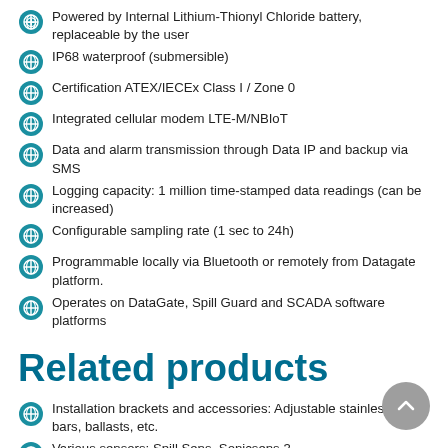Powered by Internal Lithium-Thionyl Chloride battery, replaceable by the user
IP68 waterproof (submersible)
Certification ATEX/IECEx Class I / Zone 0
Integrated cellular modem LTE-M/NBIoT
Data and alarm transmission through Data IP and backup via SMS
Logging capacity: 1 million time-stamped data readings (can be increased)
Configurable sampling rate (1 sec to 24h)
Programmable locally via Bluetooth or remotely from Datagate platform.
Operates on DataGate, Spill Guard and SCADA software platforms
Related products
Installation brackets and accessories: Adjustable stainless steel bars, ballasts, etc.
Various sensors: Spill Sens, Sonicsens 3, hydrostatic/piezometric sensors, etc.